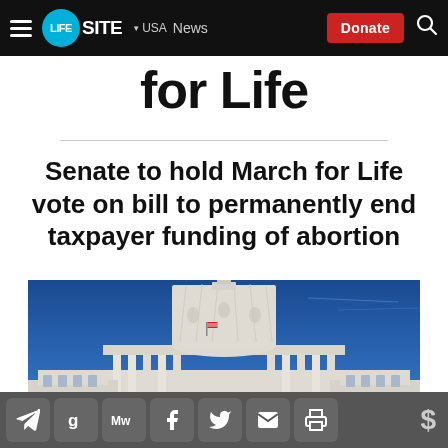LifeSite — USA  News  Donate
for Life
Senate to hold March for Life vote on bill to permanently end taxpayer funding of abortion
[Figure (photo): Photograph of the United States Capitol Building dome against a blue sky, taken from a low angle looking upward.]
Social sharing icons: Telegram, Gettr, MeWe, Facebook, Twitter, Email, Print, Donate